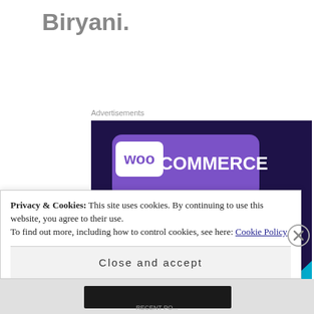Biryani.
Advertisements
[Figure (illustration): WooCommerce advertisement banner with dark purple background, green and cyan triangular shapes, WooCommerce logo in white speech-bubble style, text reading 'Turn your hobby into a business in 8 steps']
Privacy & Cookies: This site uses cookies. By continuing to use this website, you agree to their use.
To find out more, including how to control cookies, see here: Cookie Policy
Close and accept